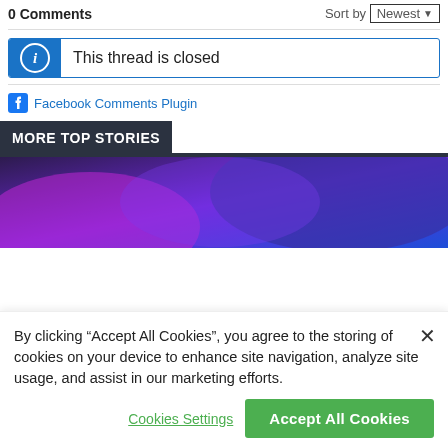0 Comments   Sort by Newest
This thread is closed
Facebook Comments Plugin
MORE TOP STORIES
[Figure (photo): Abstract purple and blue gradient background image]
By clicking “Accept All Cookies”, you agree to the storing of cookies on your device to enhance site navigation, analyze site usage, and assist in our marketing efforts.
Cookies Settings
Accept All Cookies